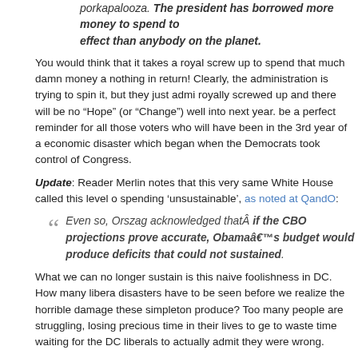porkapalooza. The president has borrowed more money to spend to effect than anybody on the planet.
You would think that it takes a royal screw up to spend that much damn money and get nothing in return! Clearly, the administration is trying to spin it, but they just admitted they royally screwed up and there will be no “Hope” (or “Change”) well into next year. This will be a perfect reminder for all those voters who will have been in the 3rd year of a devastating economic disaster which began when the Democrats took control of Congress.
Update: Reader Merlin notes that this very same White House called this level of spending ‘unsustainable’, as noted at QandO:
Even so, Orszag acknowledged thatÂ if the CBO projections prove accurate, Obamaâ€™s budget would produce deficits that could not be sustained.
What we can no longer sustain is this naive foolishness in DC. How many liberal disasters have to be seen before we realize the horrible damage these simpletons produce? Too many people are struggling, losing precious time in their lives to get ahead, to waste time waiting for the DC liberals to actually admit they were wrong.
Tags: Liberal, Obama, Pelosi, Reid, Stimulus
5 responses so far